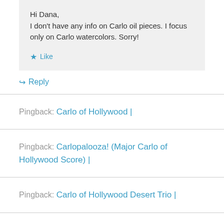Hi Dana,
I don't have any info on Carlo oil pieces. I focus only on Carlo watercolors. Sorry!
★ Like
↪ Reply
Pingback: Carlo of Hollywood |
Pingback: Carlopalooza! (Major Carlo of Hollywood Score) |
Pingback: Carlo of Hollywood Desert Trio |
Pingback: Carlo of Hollywood Commisioned Work!? |